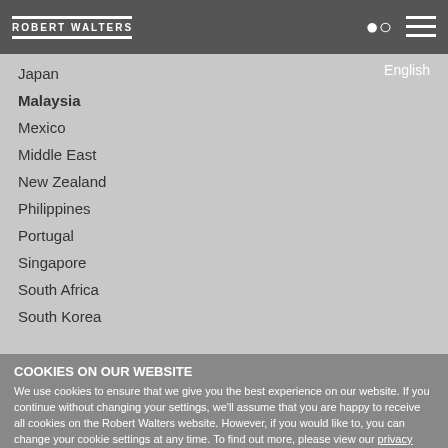ROBERT WALTERS
Japan
Malaysia
Mexico
Middle East
New Zealand
Philippines
Portugal
Singapore
South Africa
South Korea
COOKIES ON OUR WEBSITE
We use cookies to ensure that we give you the best experience on our website. If you continue without changing your settings, we'll assume that you are happy to receive all cookies on the Robert Walters website. However, if you would like to, you can change your cookie settings at any time. To find out more, please view our privacy policy.
Ok, I agree | No, give me more information